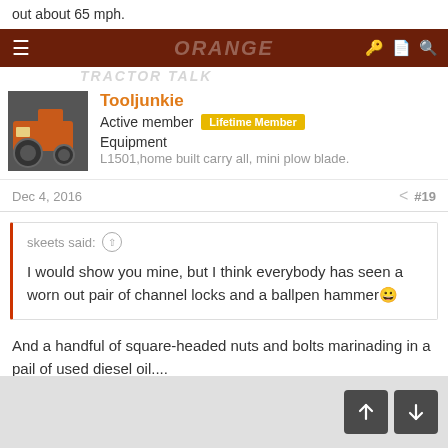out about 65 mph.
ORANGE TRACTOR TALK — navigation bar
Tooljunkie
Active member  Lifetime Member
Equipment
L1501,home built carry all, mini plow blade.
Dec 4, 2016   #19
skeets said: ↑

I would show you mine, but I think everybody has seen a worn out pair of channel locks and a ballpen hammer 😀
And a handful of square-headed nuts and bolts marinading in a pail of used diesel oil....